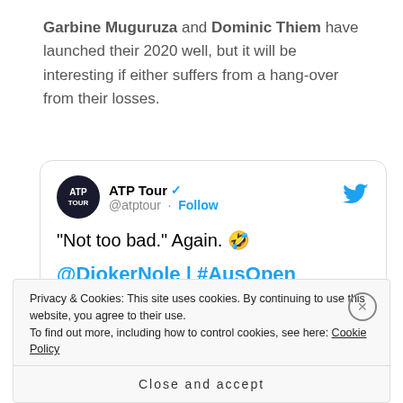Garbine Muguruza and Dominic Thiem have launched their 2020 well, but it will be interesting if either suffers from a hang-over from their losses.
[Figure (screenshot): Embedded Twitter/X tweet card from ATP Tour (@atptour) with verified badge and Follow link. Tweet text: "Not too bad." Again. 🤣 @DjokerNole | #AusOpen. Includes a dark media preview bar with 'Watch on Twitter' text.]
Privacy & Cookies: This site uses cookies. By continuing to use this website, you agree to their use. To find out more, including how to control cookies, see here: Cookie Policy
Close and accept